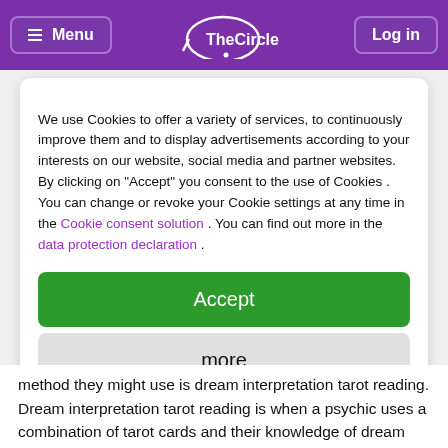Menu | TheCircle | Log in
We use Cookies to offer a variety of services, to continuously improve them and to display advertisements according to your interests on our website, social media and partner websites. By clicking on "Accept" you consent to the use of Cookies . You can change or revoke your Cookie settings at any time in the Cookie consent solution . You can find out more in the data protection declaration .
Accept
more
Powered by usercentrics
Imprint | Privacy Policy
method they might use is dream interpretation tarot reading. Dream interpretation tarot reading is when a psychic uses a combination of tarot cards and their knowledge of dream